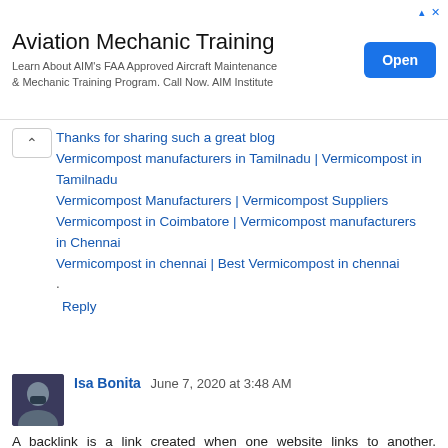[Figure (other): Advertisement banner: 'Aviation Mechanic Training' with text 'Learn About AIM's FAA Approved Aircraft Maintenance & Mechanic Training Program. Call Now. AIM Institute' and an 'Open' button]
Thanks for sharing such a great blog Vermicompost manufacturers in Tamilnadu | Vermicompost in Tamilnadu Vermicompost Manufacturers | Vermicompost Suppliers Vermicompost in Coimbatore | Vermicompost manufacturers in Chennai Vermicompost in chennai | Best Vermicompost in chennai .
Reply
Isa Bonita June 7, 2020 at 3:48 AM
A backlink is a link created when one website links to another. Backlinks are important to SEO & impact for higher ranking. In my 7+ years seo Career i see, without backlinks a website doesn't rank higher on google SERP.